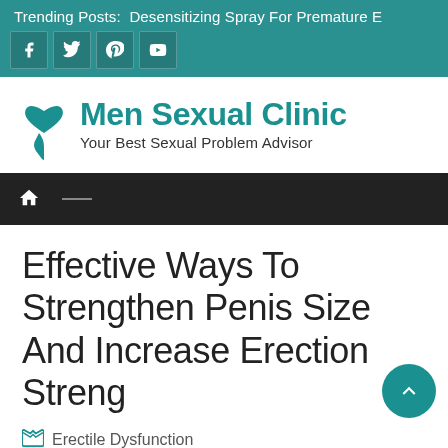Trending Posts:  Desensitizing Spray For Premature E
[Figure (logo): Social media icons: Facebook, Twitter, Pinterest, YouTube on teal background]
[Figure (logo): Men Sexual Clinic logo with heart/pin icon, tagline: Your Best Sexual Problem Advisor]
[Figure (screenshot): Dark navigation bar with home icon and divider line]
Effective Ways To Strengthen Penis Size And Increase Erection Streng
Erectile Dysfunction